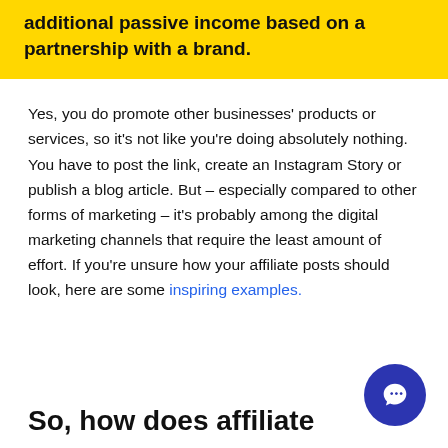additional passive income based on a partnership with a brand.
Yes, you do promote other businesses' products or services, so it's not like you're doing absolutely nothing. You have to post the link, create an Instagram Story or publish a blog article. But – especially compared to other forms of marketing – it's probably among the digital marketing channels that require the least amount of effort. If you're unsure how your affiliate posts should look, here are some inspiring examples.
So, how does affiliate